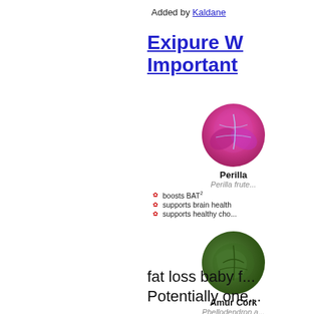Added by Kaldane
Exipure W... Important...
[Figure (illustration): Circular image of Perilla plant with pink/magenta leaves]
Perilla
Perilla frute...
boosts BAT²
supports brain health
supports healthy cho...
[Figure (illustration): Circular image of Amur Cork tree with green leaves]
Amur Cork
Phellodendron a...
boosts BAT³
eases digestion and b...
supports healthy hear...
fat loss baby f... Potentially one...